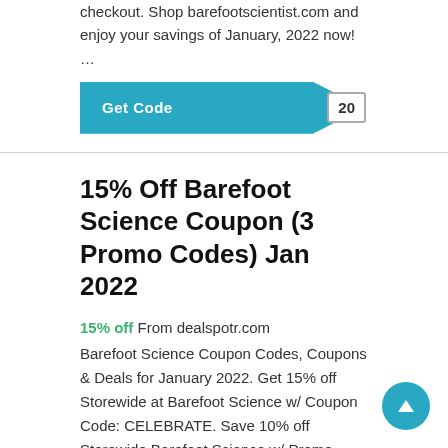checkout. Shop barefootscientist.com and enjoy your savings of January, 2022 now! ...
[Figure (other): Teal 'Get Code' button with code reveal '20']
15% Off Barefoot Science Coupon (3 Promo Codes) Jan 2022
15% off From dealspotr.com
Barefoot Science Coupon Codes, Coupons & Deals for January 2022. Get 15% off Storewide at Barefoot Science w/ Coupon Code: CELEBRATE. Save 10% off Storewide Barefoot Science w/ Promo Code: WELCOME10. Barefoot Science newsletter codes, Barefoot Science reseller codes, Barefoot Science competitor coupon codes, ...